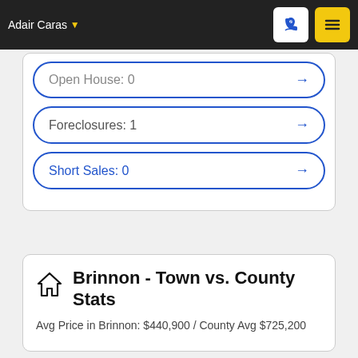Adair Caras
Open House: 0 →
Foreclosures: 1 →
Short Sales: 0 →
Brinnon - Town vs. County Stats
Avg Price in Brinnon: $440,900 / County Avg $725,200